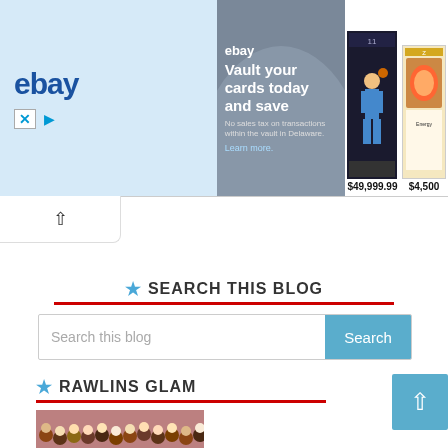[Figure (screenshot): eBay advertisement banner: 'Vault your cards today and save' with card images priced at $49,999.99 and $4,500]
[Figure (other): Collapse/hide arrow button below the ad banner]
SEARCH THIS BLOG
[Figure (other): Search input box with placeholder 'Search this blog' and a teal Search button]
RAWLINS GLAM
[Figure (photo): Partial preview image of a crowd/people below the Rawlins Glam header]
[Figure (other): Scroll to top button (teal, top right)]